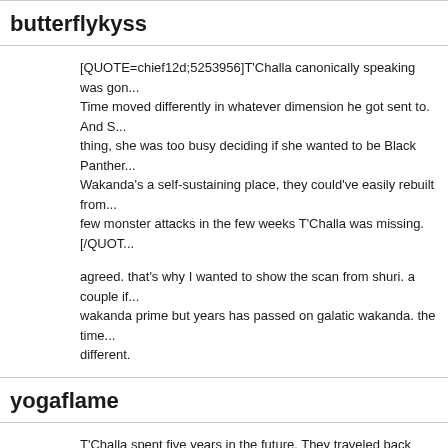butterflykyss
[QUOTE=chief12d;5253956]T'Challa canonically speaking was gon... Time moved differently in whatever dimension he got sent to. And S... thing, she was too busy deciding if she wanted to be Black Panther... Wakanda's a self-sustaining place, they could've easily rebuilt from... few monster attacks in the few weeks T'Challa was missing.[/QUOT...
agreed. that's why I wanted to show the scan from shuri. a couple if... wakanda prime but years has passed on galatic wakanda. the time... different.
yogaflame
T'Challa spent five years in the future. They traveled back through a... wormhole, but in effect they still were gone from earth at least a few... months. He's a changed man.
Shuri #1 shows him and Manifold leave, and it's already been two w... in the [B]same[/B] issue, and that was October 2018!
[ATTACH=CONFIG]102732[/ATTACH]